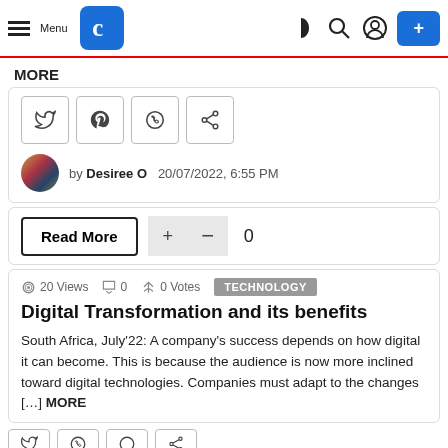Menu [logo] [dark mode] [search] [user] [+]
MORE
[Figure (other): Social share buttons: Twitter, Pinterest, WhatsApp, Share]
by Desiree O  20/07/2022, 6:55 PM
Read More  +  −  0
20 Views  0  0 Votes  TECHNOLOGY
Digital Transformation and its benefits
South Africa, July'22: A company's success depends on how digital it can become. This is because the audience is now more inclined toward digital technologies. Companies must adapt to the changes [...] MORE
[Figure (other): Social share buttons row (partial, cropped at bottom)]